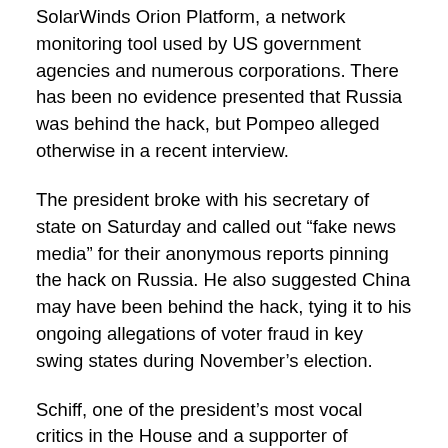SolarWinds Orion Platform, a network monitoring tool used by US government agencies and numerous corporations. There has been no evidence presented that Russia was behind the hack, but Pompeo alleged otherwise in a recent interview.
The president broke with his secretary of state on Saturday and called out “fake news media” for their anonymous reports pinning the hack on Russia. He also suggested China may have been behind the hack, tying it to his ongoing allegations of voter fraud in key swing states during November’s election.
Schiff, one of the president’s most vocal critics in the House and a supporter of evidence-free claims Russia colluded to influence the 2016 presidential election, called Trump’s tweets “uniformly destructive and deceitful and